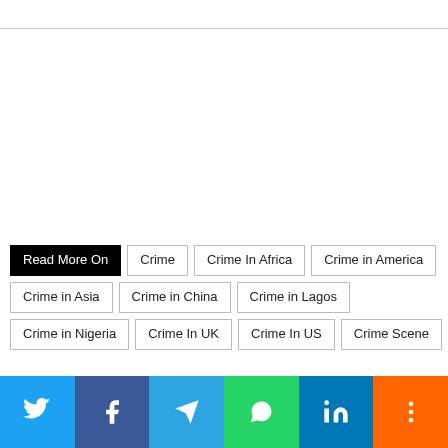Read More On  Crime  Crime In Africa  Crime in America  Crime in Asia  Crime in China  Crime in Lagos  Crime in Nigeria  Crime In UK  Crime In US  Crime Scene
Twitter  Facebook  Telegram  WhatsApp  LinkedIn  More